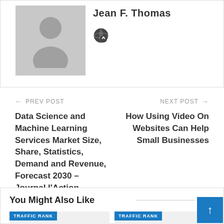[Figure (illustration): Gray placeholder avatar silhouette (person icon) inside a light gray rectangle]
Jean F. Thomas
[Figure (logo): Globe/world icon with a heart or location pin overlay]
← PREV POST
NEXT POST →
Data Science and Machine Learning Services Market Size, Share, Statistics, Demand and Revenue, Forecast 2030 – Journal l'Action Régionale
How Using Video On Websites Can Help Small Businesses
You Might Also Like
All
TRAFFIC RANK
TRAFFIC RANK